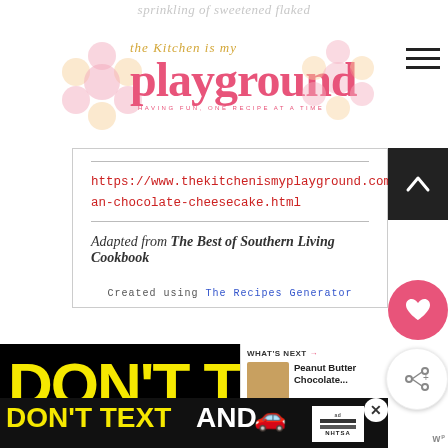sprinkling of sweetened flaked
[Figure (logo): The Kitchen is my Playground blog logo with pink text and decorative cupcake/flower imagery. Tagline: HAVING FUN, ONE RECIPE AT A TIME]
https://www.thekitchenismyplayground.com/2017/01/german-chocolate-cheesecake.html
Adapted from The Best of Southern Living Cookbook
Created using The Recipes Generator
[Figure (screenshot): Advertisement banner: DON'T TEXT and DON'T TEXT AND [car emoji] NHTSA ad. What's Next panel showing Peanut Butter Chocolate...]